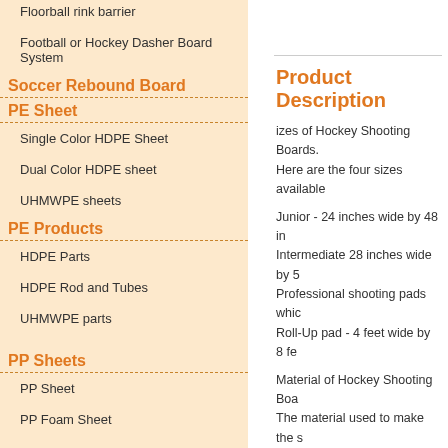Floorball rink barrier
Football or Hockey Dasher Board System
Soccer Rebound Board
PE Sheet
Single Color HDPE Sheet
Dual Color HDPE sheet
UHMWPE sheets
PE Products
HDPE Parts
HDPE Rod and Tubes
UHMWPE parts
PP Sheets
PP Sheet
PP Foam Sheet
[Figure (photo): Photo of hockey shooting board or related product]
Product Description
izes of Hockey Shooting Boards. Here are the four sizes available
Junior - 24 inches wide by 48 in
Intermediate 28 inches wide by 5
Professional shooting pads whic
Roll-Up pad - 4 feet wide by 8 fe
Material of Hockey Shooting Boa
The material used to make the s years in some cases) and also be very slippery. HDPE is u boards that are used in hockey